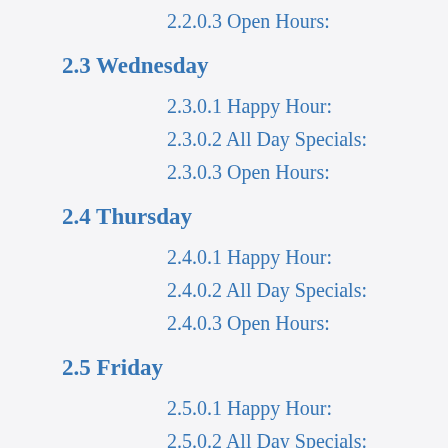2.2.0.3 Open Hours:
2.3 Wednesday
2.3.0.1 Happy Hour:
2.3.0.2 All Day Specials:
2.3.0.3 Open Hours:
2.4 Thursday
2.4.0.1 Happy Hour:
2.4.0.2 All Day Specials:
2.4.0.3 Open Hours:
2.5 Friday
2.5.0.1 Happy Hour:
2.5.0.2 All Day Specials:
2.5.0.3 Open Hours: